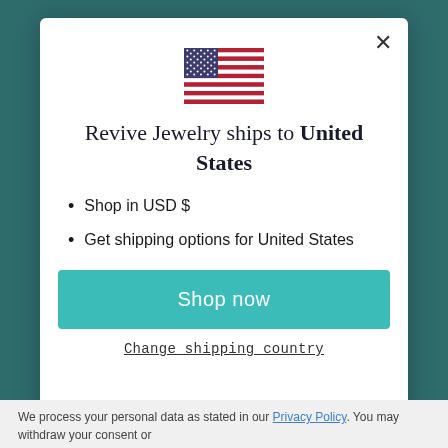[Figure (illustration): US flag SVG inline illustration]
Revive Jewelry ships to United States
Shop in USD $
Get shipping options for United States
Shop now
Change shipping country
We process your personal data as stated in our Privacy Policy. You may withdraw your consent or